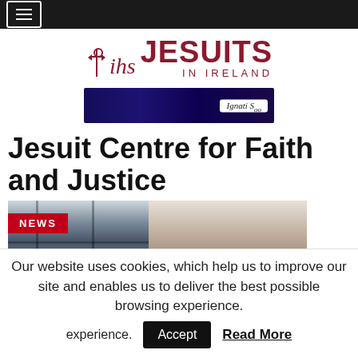Navigation bar with hamburger menu
[Figure (logo): Jesuits in Ireland logo with IHS cross symbol and text 'JESUITS IN IRELAND' in dark red]
[Figure (photo): Banner advertisement with dark blue/purple background and 'Ignatius' text tag]
Jesuit Centre for Faith and Justice
[Figure (photo): News photo showing a family - a man in purple cap seated on left and a woman in hijab holding a baby on the right, inside a building with bunk beds visible. NEWS badge in red overlay.]
Our website uses cookies, which help us to improve our site and enables us to deliver the best possible browsing experience.
Accept
Read More